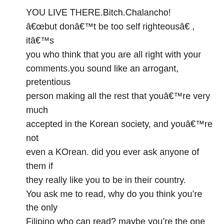YOU LIVE THERE.Bitch.Chalancho!
â€œbut donâ€™t be too self righteousâ€ , itâ€™s you who think that you are all right with your comments.you sound like an arrogant, pretentious person making all the rest that youâ€™re very much accepted in the Korean society, and youâ€™re not even a KOrean. did you ever ask anyone of them if they really like you to be in their country.
You ask me to read, why do you think you’re the only Filipino who can read? maybe you’re the one uneducated Filipino who went to Korea, because you can’t find yourself existing.
“stay on a cave alone for 10 years” oh so maybe you lived in the cave all your life so you are too ignorant about everything, and you have to ask others